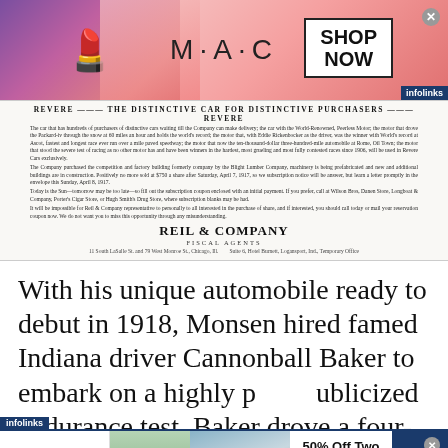[Figure (photo): MAC cosmetics advertisement banner showing lipsticks with 'SHOP NOW' button and infolinks badge]
[Figure (photo): Historical newspaper advertisement for Revere automobile by Reil & Company, Fiscal Agents, Chicago IL]
With his unique automobile ready to debut in 1918, Monsen hired famed Indiana driver Cannonball Baker to embark on a highly publicized endurance test. Baker drove a four-
[Figure (photo): SmartPak advertisement: 50% Off Two Months of ColiCare, ColiCare Eligible Supplements, CODE: COLICARE10, Shop Now]